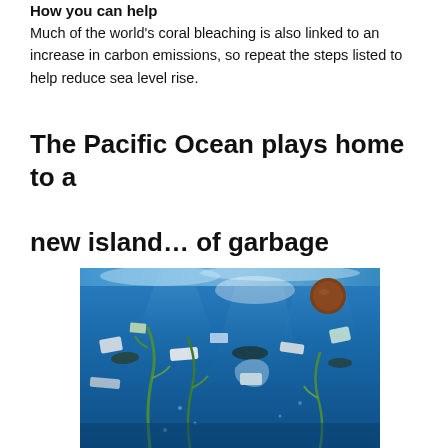How you can help
Much of the world’s coral bleaching is also linked to an increase in carbon emissions, so repeat the steps listed to help reduce sea level rise.
The Pacific Ocean plays home to a new island… of garbage
[Figure (photo): Underwater photograph showing floating garbage and plastic debris mixed with sea plants and water near the ocean surface, with blue water and light filtering through.]